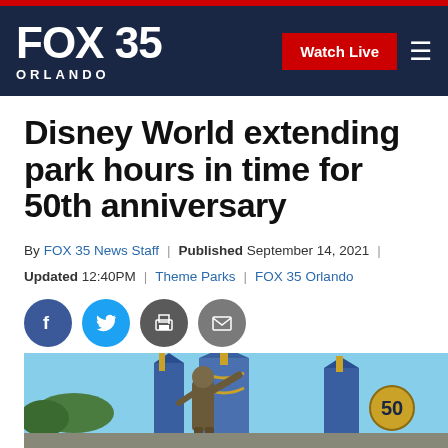FOX 35 ORLANDO
Disney World extending park hours in time for 50th anniversary
By FOX 35 News Staff | Published September 14, 2021 | Updated 12:40PM | Theme Parks | FOX 35 Orlando
[Figure (illustration): Social sharing icons: Facebook, Twitter, Print, Email]
[Figure (photo): Bronze statue of Walt Disney pointing, with Cinderella Castle decorated with blue and gold 50th anniversary decorations in the background at Walt Disney World.]